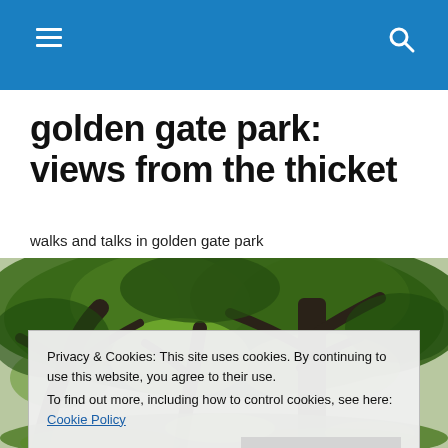golden gate park: views from the thicket — navigation and search bar
golden gate park: views from the thicket
walks and talks in golden gate park
[Figure (photo): Outdoor photo of a forested thicket in Golden Gate Park, showing gnarled tree trunks, green foliage, and grass lit by dappled light.]
Privacy & Cookies: This site uses cookies. By continuing to use this website, you agree to their use.
To find out more, including how to control cookies, see here: Cookie Policy
Close and accept